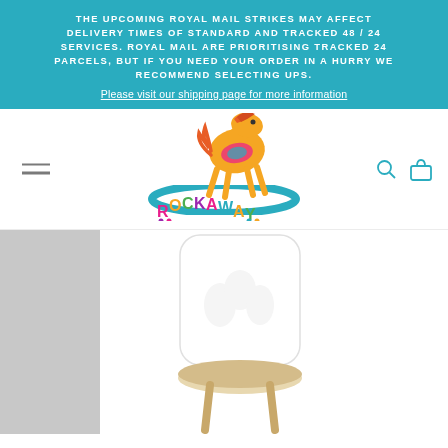THE UPCOMING ROYAL MAIL STRIKES MAY AFFECT DELIVERY TIMES OF STANDARD AND TRACKED 48 / 24 SERVICES. ROYAL MAIL ARE PRIORITISING TRACKED 24 PARCELS, BUT IF YOU NEED YOUR ORDER IN A HURRY WE RECOMMEND SELECTING UPS. Please visit our shipping page for more information
[Figure (logo): Rockaway Toys logo featuring a colorful rocking horse and rainbow-colored brand text]
[Figure (photo): White children's chair with decorative cutouts in the backrest, sitting on a round natural wood seat/table, against a white background, with grey panel on left]